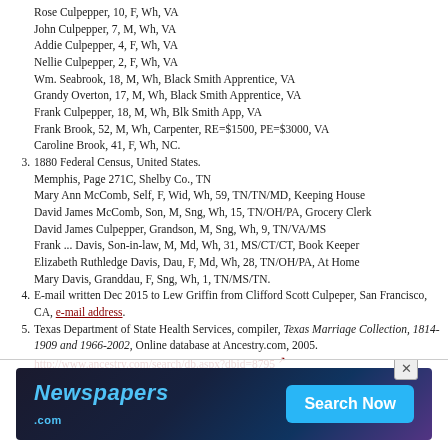Rose Culpepper, 10, F, Wh, VA
John Culpepper, 7, M, Wh, VA
Addie Culpepper, 4, F, Wh, VA
Nellie Culpepper, 2, F, Wh, VA
Wm. Seabrook, 18, M, Wh, Black Smith Apprentice, VA
Grandy Overton, 17, M, Wh, Black Smith Apprentice, VA
Frank Culpepper, 18, M, Wh, Blk Smith App, VA
Frank Brook, 52, M, Wh, Carpenter, RE=$1500, PE=$3000, VA
Caroline Brook, 41, F, Wh, NC.
3. 1880 Federal Census, United States.
Memphis, Page 271C, Shelby Co., TN
Mary Ann McComb, Self, F, Wid, Wh, 59, TN/TN/MD, Keeping House
David James McComb, Son, M, Sng, Wh, 15, TN/OH/PA, Grocery Clerk
David James Culpepper, Grandson, M, Sng, Wh, 9, TN/VA/MS
Frank ... Davis, Son-in-law, M, Md, Wh, 31, MS/CT/CT, Book Keeper
Elizabeth Ruthledge Davis, Dau, F, Md, Wh, 28, TN/OH/PA, At Home
Mary Davis, Granddau, F, Sng, Wh, 1, TN/MS/TN.
4. E-mail written Dec 2015 to Lew Griffin from Clifford Scott Culpeper, San Francisco, CA, e-mail address.
5. Texas Department of State Health Services, compiler, Texas Marriage Collection, 1814-1909 and 1966-2002, Online database at Ancestry.com, 2005.
http://www.ancestry.com/search/db.aspx?dbid=8795
Harris Co., TX: Roland H. Culpepper and Mamie K. Clark, 31 Oct 1878.
6. 18[...] [...] ED [...] TX
Ro[...]